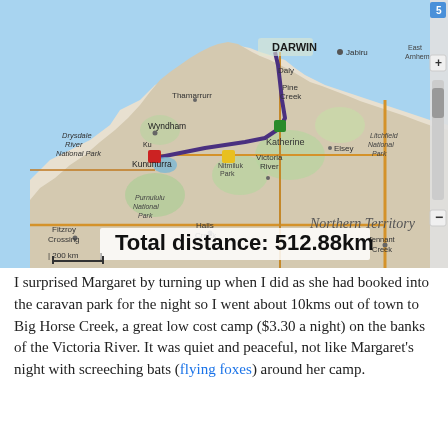[Figure (map): A road map showing a route from Kununurra through Katherine to Darwin in the Northern Territory, Australia. The route is shown as a dark purple/blue line. A distance marker overlay reads 'Total distance: 512.88km'. The map shows locations including Darwin, Jabiru, Katherine, Kununurra, Wyndham, Victoria River, Halls Creek, Fitzroy Crossing, Tennant Creek, Drysdale River National Park, Purnululu National Park, and Nitmiluk National Park. A scale bar shows 200 km. Map controls (+/-) are visible on the right side.]
I surprised Margaret by turning up when I did as she had booked into the caravan park for the night so I went about 10kms out of town to Big Horse Creek, a great low cost camp ($3.30 a night) on the banks of the Victoria River. It was quiet and peaceful, not like Margaret's night with screeching bats (flying foxes) around her camp.